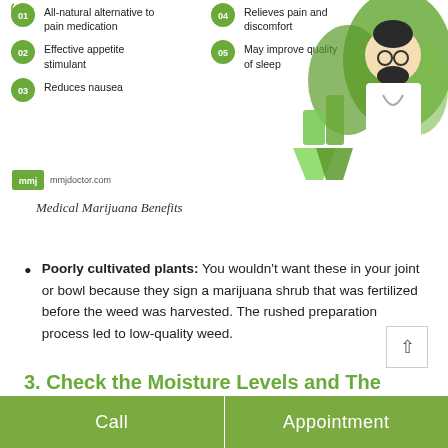[Figure (infographic): Medical marijuana benefits infographic showing numbered benefits (01-05) including: All-natural alternative to pain medication, Effective appetite stimulant, Reduces nausea, Relieves pain and discomfort, May improve quality of sleep. Right side shows illustration of a doctor with cannabis leaves and lab flasks. MMJ Doctor logo and mmjdoctor.com shown at bottom left.]
Medical Marijuana Benefits
Poorly cultivated plants: You wouldn't want these in your joint or bowl because they sign a marijuana shrub that was fertilized before the weed was harvested. The rushed preparation process led to low-quality weed.
3. Check the Moisture Levels and The Aroma
Immediately after opening the sealed marijuana container, you
Call | Appointment